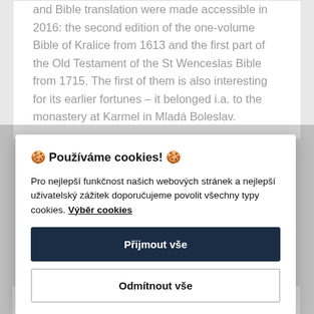and Bible translation were made accessible in 2016: the second edition of the one-volume Bible of Kralice from 1613 and the first part of the Old Testament of the St Wenceslas Bible from 1715. The first of them is also interesting for its earlier fortunes – it belonged i.a. to the monastery at Karmel in Mladá Boleslav.
🍪 Používáme cookies! 🍪
Pro nejlepší funkčnost našich webových stránek a nejlepší uživatelský zážitek doporučujeme povolit všechny typy cookies. Výběr cookies
Přijmout vše
Odmítnout vše
were written between the 16th century and